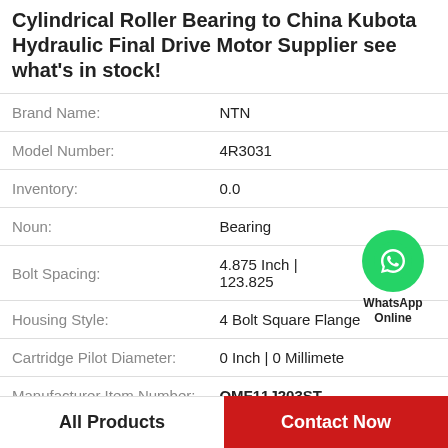Cylindrical Roller Bearing to China Kubota Hydraulic Final Drive Motor Supplier see what's in stock!
| Attribute | Value |
| --- | --- |
| Brand Name: | NTN |
| Model Number: | 4R3031 |
| Inventory: | 0.0 |
| Noun: | Bearing |
| Bolt Spacing: | 4.875 Inch | 123.825 |
| Housing Style: | 4 Bolt Square Flange |
| Cartridge Pilot Diameter: | 0 Inch | 0 Millimete |
| Manufacturer Item Number: | QMF11J203ST |
[Figure (logo): WhatsApp Online green phone icon bubble with text WhatsApp Online]
All Products    Contact Now